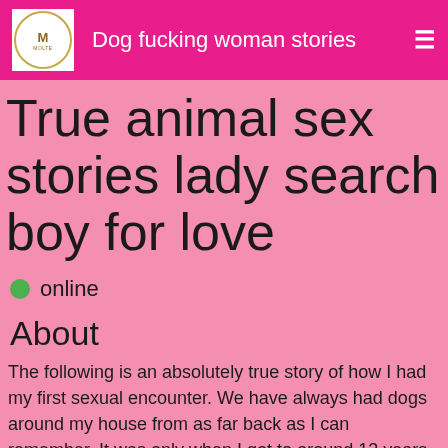Dog fucking woman stories
True animal sex stories lady search boy for love
online
About
The following is an absolutely true story of how I had my first sexual encounter. We have always had dogs around my house from as far back as I can remember. It was only when I got to around 13 years old that one day, while I was wearing short shorts and playing with my dog. He stuck his nose up the leg of the shorts and started licking my pussy.